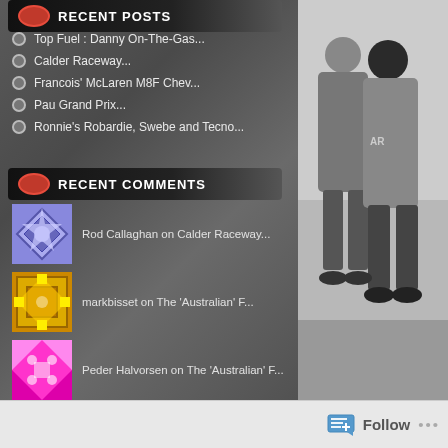RECENT POSTS
Top Fuel : Danny On-The-Gas...
Calder Raceway...
Francois' McLaren M8F Chev...
Pau Grand Prix...
Ronnie's Robardie, Swebe and Tecno...
RECENT COMMENTS
Rod Callaghan on Calder Raceway...
markbisset on The 'Australian' F...
Peder Halvorsen on The 'Australian' F...
Iain Ross on Calder Raceway...
robert kingBob King on Calder Raceway...
[Figure (photo): Black and white photo of people standing outdoors, appears to be at a racing event]
Follow